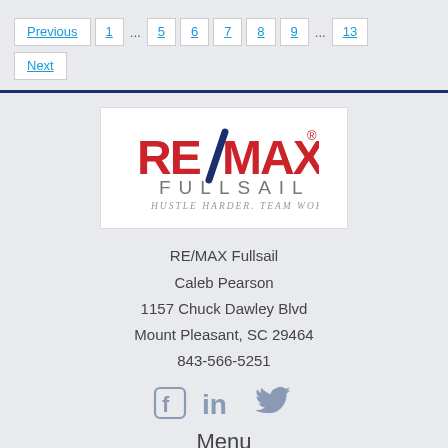Pagination: Previous 1 ... 5 6 7 8 9 ... 13 Next
[Figure (logo): RE/MAX Fullsail logo with text HUSTLE HARDER. TEAM WORK.]
RE/MAX Fullsail
Caleb Pearson
1157 Chuck Dawley Blvd
Mount Pleasant, SC 29464
843-566-5251
[Figure (infographic): Social media icons: Facebook, LinkedIn, Twitter]
Menu